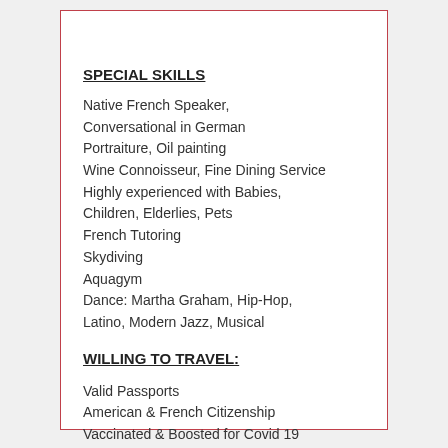SPECIAL SKILLS
Native French Speaker,
Conversational in German
Portraiture, Oil painting
Wine Connoisseur, Fine Dining Service
Highly experienced with Babies,
Children, Elderlies, Pets
French Tutoring
Skydiving
Aquagym
Dance: Martha Graham, Hip-Hop,
Latino, Modern Jazz, Musical
WILLING TO TRAVEL:
Valid Passports
American & French Citizenship
Vaccinated & Boosted for Covid 19